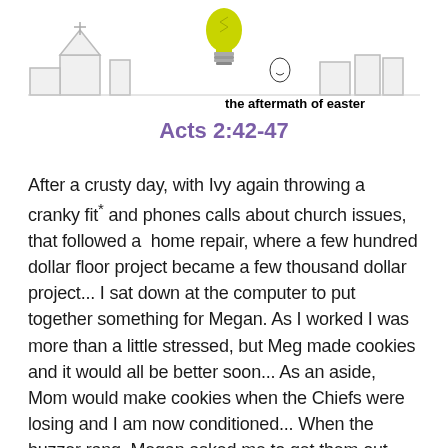[Figure (illustration): Illustration showing a church skyline outline in gray with a yellow light bulb in the center and the text 'the aftermath of easter' in bold below it.]
Acts 2:42-47
After a crusty day, with Ivy again throwing a cranky fit* and phones calls about church issues, that followed a  home repair, where a few hundred dollar floor project became a few thousand dollar project... I sat down at the computer to put together something for Megan. As I worked I was more than a little stressed, but Meg made cookies and it would all be better soon... As an aside, Mom would make cookies when the Chiefs were losing and I am now conditioned... When the buzzer rang, Megan asked me to get them out. So, I hopped up and fell right